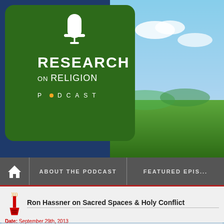[Figure (screenshot): Research on Religion Podcast logo — white text on dark green rounded rectangle with microphone icon]
[Figure (photo): Landscape photo with blue sky and green grass field]
ABOUT THE PODCAST   FEATURED EPIS...
Ron Hassner on Sacred Spaces & Holy Conflict
Date: September 29th, 2013
Tags: Chilean miners, Church of the Holy Sepulcher, Church of the Nativity, conflict, Em... el-Sharif, Islam, Israel, judgment of Solomon, Mormonism, Palestinians, sacred ground...
Note: This is an encore performance of one of my favorite interviews from three years a... the current politics of the day.  The RoR staff has been busy recently, but we will return... Please stay tuned for more details and subscribe to our Facebook Fan Page for regula...
Religious conflict has been common throughout history.  But why have conflicts over sa... been so remarkably difficult to solve, especially when compared to conflicts over more "... – associate professor of political science at the University of California at Berkeley, a... and Globalization Program – presents an intriguing explanation for the intractability o...
Prof. Hassner argues in plain and simple language that the nature of "sacred ground," s... conflict impossible to resolve between two parties who are contesting the ownership...